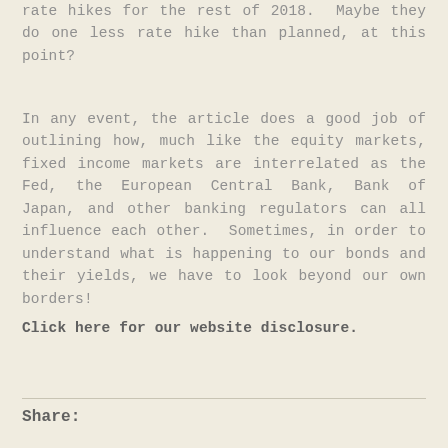rate hikes for the rest of 2018.  Maybe they do one less rate hike than planned, at this point?
In any event, the article does a good job of outlining how, much like the equity markets, fixed income markets are interrelated as the Fed, the European Central Bank, Bank of Japan, and other banking regulators can all influence each other.  Sometimes, in order to understand what is happening to our bonds and their yields, we have to look beyond our own borders!
Click here for our website disclosure.
Share: